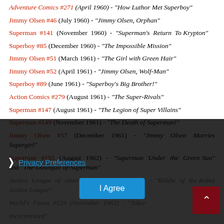Adventure Comics #271 (April 1960) - "How Luthor Met Superboy"
Jimmy Olsen #46 (July 1960) - "Jimmy Olsen, Orphan"
Superman #141 (November 1960) - "Superman's Return To Krypton"
Superboy #85 (December 1960) - "The Impossible Mission"
Jimmy Olsen #51 (March 1961) - "The Girl with Green Hair"
Jimmy Olsen #52 (April 1961) - "Jimmy Olsen, Wolf-Man"
Superboy #89 (June 1961) - "Superboy's Big Brother!"
Action Comics #279 (August 1961) - "The Super-Rivals"
Superman #147 (August 1961) - "The Legion of Super Villains"
Superman #149 (November 1961) - "The Death of Superman!"
Jimmy Olsen #57 (December 1961) - "Jimmy Olsen Marries Supergirl"
Superman #155 (August 1962) - "Superman Under the Green Sun" and "The Downfall of Superman"
Justice League of America #13 (August 1962) - "Riddle of the Robot Justice League"
World's Finest #129 (November 1962) - "Joker, Incorporated"
Superman #158 (January 1963) - "Superman in Kandor"